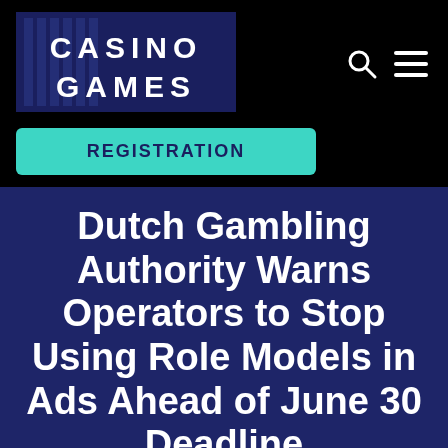[Figure (logo): Casino Games logo — dark navy background with column stripe decoration and white bold text reading CASINO GAMES in two lines]
Dutch Gambling Authority Warns Operators to Stop Using Role Models in Ads Ahead of June 30 Deadline
Home → Без рубрики → Dutch Gambling Authority Warns Operators to Stop Using Role Models in Ads Ahead of June 30 Deadline